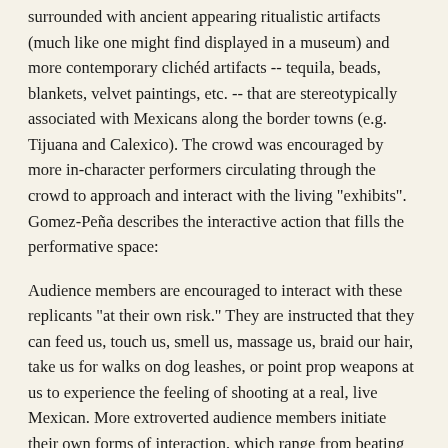surrounded with ancient appearing ritualistic artifacts (much like one might find displayed in a museum) and more contemporary clichéd artifacts -- tequila, beads, blankets, velvet paintings, etc. -- that are stereotypically associated with Mexicans along the border towns (e.g. Tijuana and Calexico). The crowd was encouraged by more in-character performers circulating through the crowd to approach and interact with the living "exhibits". Gomez-Peña describes the interactive action that fills the performative space:
Audience members are encouraged to interact with these replicants "at their own risk." They are instructed that they can feed us, touch us, smell us, massage us, braid our hair, take us for walks on dog leashes, or point prop weapons at us to experience the feeling of shooting at a real, live Mexican. More extroverted audience members initiate their own forms of interaction, which range from beating or stabbing us with (prop) weapons to attempting to initiate explicit sexual contact either with us or with objects in our diorama environments. (54)
The emotions displayed can be intense both from the performers and the audience. That first visit I witnessed a vegetarian yank a dead chicken from one of the ropes nooses hanging from the